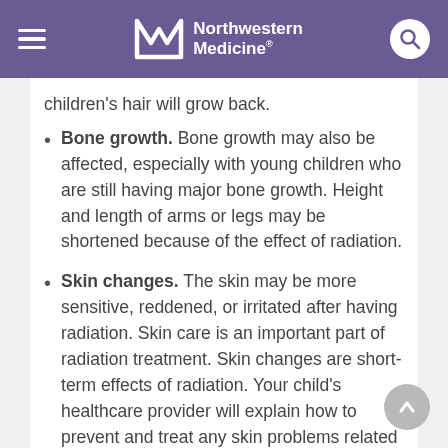Northwestern Medicine
children's hair will grow back.
Bone growth. Bone growth may also be affected, especially with young children who are still having major bone growth. Height and length of arms or legs may be shortened because of the effect of radiation.
Skin changes. The skin may be more sensitive, reddened, or irritated after having radiation. Skin care is an important part of radiation treatment. Skin changes are short-term effects of radiation. Your child's healthcare provider will explain how to prevent and treat any skin problems related